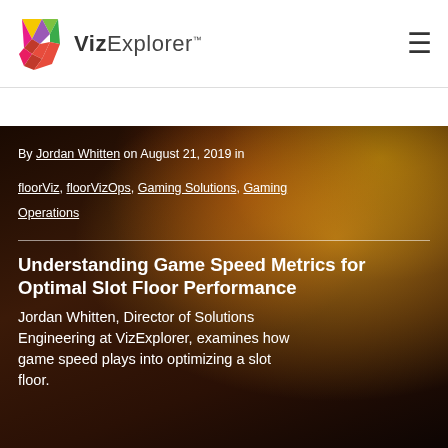[Figure (logo): VizExplorer logo with colorful geometric V shape and text 'VizExplorer']
[Figure (photo): Dark background photo of excited casino patrons laughing, with colored bokeh lights]
By Jordan Whitten on August 21, 2019 in
floorViz, floorVizOps, Gaming Solutions, Gaming Operations
Understanding Game Speed Metrics for Optimal Slot Floor Performance
Jordan Whitten, Director of Solutions Engineering at VizExplorer, examines how game speed plays into optimizing a slot floor.